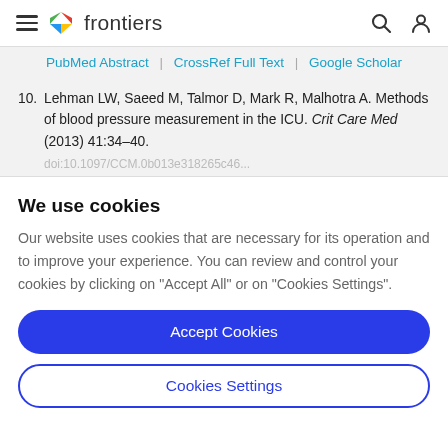frontiers
PubMed Abstract | CrossRef Full Text | Google Scholar
10. Lehman LW, Saeed M, Talmor D, Mark R, Malhotra A. Methods of blood pressure measurement in the ICU. Crit Care Med (2013) 41:34–40.
We use cookies
Our website uses cookies that are necessary for its operation and to improve your experience. You can review and control your cookies by clicking on "Accept All" or on "Cookies Settings".
Accept Cookies
Cookies Settings